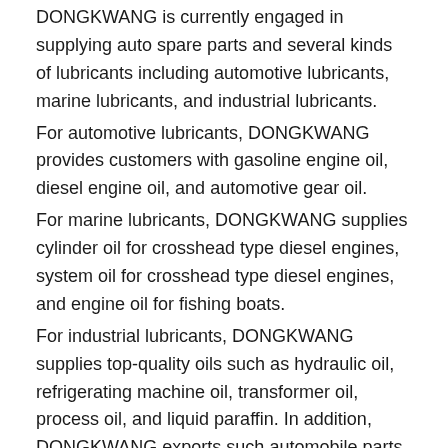DONGKWANG is currently engaged in supplying auto spare parts and several kinds of lubricants including automotive lubricants, marine lubricants, and industrial lubricants.
For automotive lubricants, DONGKWANG provides customers with gasoline engine oil, diesel engine oil, and automotive gear oil.
For marine lubricants, DONGKWANG supplies cylinder oil for crosshead type diesel engines, system oil for crosshead type diesel engines, and engine oil for fishing boats.
For industrial lubricants, DONGKWANG supplies top-quality oils such as hydraulic oil, refrigerating machine oil, transformer oil, process oil, and liquid paraffin. In addition, DONGKWANG exports such automobile parts as filters, batteries, tires, etc.
Based on his experience in overseas trading at Dongjoo